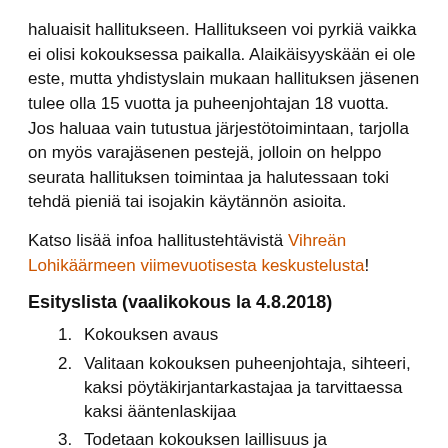haluaisit hallitukseen. Hallitukseen voi pyrkiä vaikka ei olisi kokouksessa paikalla. Alaikäisyyskään ei ole este, mutta yhdistyslain mukaan hallituksen jäsenen tulee olla 15 vuotta ja puheenjohtajan 18 vuotta. Jos haluaa vain tutustua järjestötoimintaan, tarjolla on myös varajäsenen pestejä, jolloin on helppo seurata hallituksen toimintaa ja halutessaan toki tehdä pieniä tai isojakin käytännön asioita.
Katso lisää infoa hallitustehtävistä Vihreän Lohikäärmeen viimevuotisesta keskustelusta!
Esityslista (vaalikokous la 4.8.2018)
Kokouksen avaus
Valitaan kokouksen puheenjohtaja, sihteeri, kaksi pöytäkirjantarkastajaa ja tarvittaessa kaksi ääntenlaskijaa
Todetaan kokouksen laillisuus ja päätösvaltaisuus